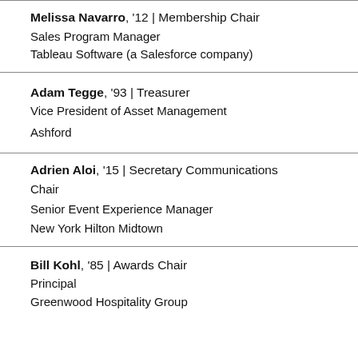Melissa Navarro, '12 | Membership Chair
Sales Program Manager
Tableau Software (a Salesforce company)
Adam Tegge, '93 | Treasurer
Vice President of Asset Management
Ashford
Adrien Aloi, '15 | Secretary Communications Chair
Senior Event Experience Manager
New York Hilton Midtown
Bill Kohl, '85 | Awards Chair
Principal
Greenwood Hospitality Group